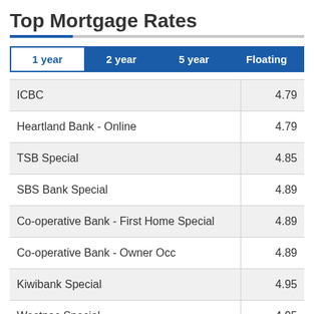Top Mortgage Rates
|  | 1 year | 2 year | 5 year | Floating |
| --- | --- | --- | --- | --- |
| ICBC | 4.79 |
| Heartland Bank - Online | 4.79 |
| TSB Special | 4.85 |
| SBS Bank Special | 4.89 |
| Co-operative Bank - First Home Special | 4.89 |
| Co-operative Bank - Owner Occ | 4.89 |
| Kiwibank Special | 4.95 |
| Westpac Special | 4.95 |